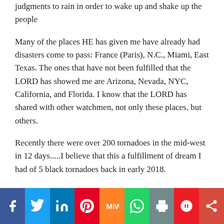judgments to rain in order to wake up and shake up the people
Many of the places HE has given me have already had disasters come to pass: France (Paris), N.C., Miami, East Texas. The ones that have not been fulfilled that the LORD has showed me are Arizona, Nevada, NYC, California, and Florida. I know that the LORD has shared with other watchmen, not only these places, but others.
Recently there were over 200 tornadoes in the midwest in 12 days.....I believe that this a fulfillment of dream I had of 5 black tornadoes back in early 2018.
[Figure (infographic): Social media share bar with icons for Facebook, Twitter, LinkedIn, Pinterest, Mix, WhatsApp, Print, Parler, and More (share).]